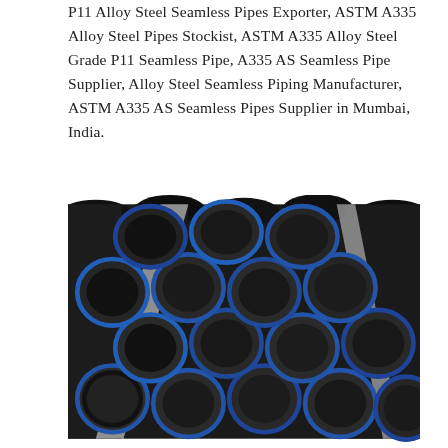P11 Alloy Steel Seamless Pipes Exporter, ASTM A335 Alloy Steel Pipes Stockist, ASTM A335 Alloy Steel Grade P11 Seamless Pipe, A335 AS Seamless Pipe Supplier, Alloy Steel Seamless Piping Manufacturer, ASTM A335 AS Seamless Pipes Supplier in Mumbai, India.
[Figure (photo): Photograph of stacked dark steel seamless pipes viewed from the open ends, showing circular pipe cross-sections with blue-painted rims arranged in a triangular stacking pattern, bound with a metal strap.]